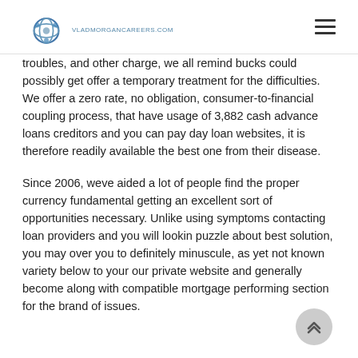vladmorgancareers.com logo and navigation
troubles, and other charge, we all remind bucks could possibly get offer a temporary treatment for the difficulties. We offer a zero rate, no obligation, consumer-to-financial coupling process, that have usage of 3,882 cash advance loans creditors and you can pay day loan websites, it is therefore readily available the best one from their disease.
Since 2006, weve aided a lot of people find the proper currency fundamental getting an excellent sort of opportunities necessary. Unlike using symptoms contacting loan providers and you will lookin puzzle about best solution, you may over you to definitely minuscule, as yet not known variety below to your our private website and generally become along with compatible mortgage performing section for the brand of issues.